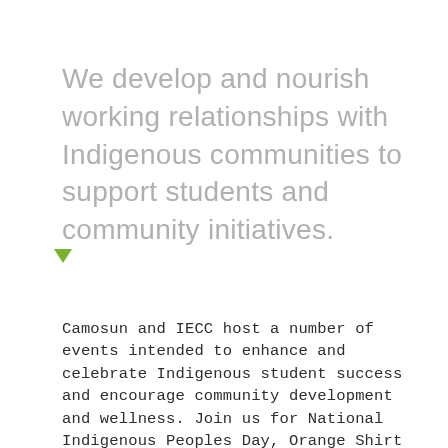We develop and nourish working relationships with Indigenous communities to support students and community initiatives.
[Figure (illustration): Small green downward-pointing triangle arrow icon]
Camosun and IECC host a number of events intended to enhance and celebrate Indigenous student success and encourage community development and wellness. Join us for National Indigenous Peoples Day, Orange Shirt Day, Salish Pit Cook and also for smaller activities for Indigenous students